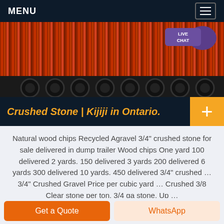MENU
[Figure (photo): Red corrugated metal panels (likely a truck trailer) with dark wheels visible at the bottom. A 'LIVE CHAT' button appears in the upper right corner of the image.]
Crushed Stone | Kijiji in Ontario.
Natural wood chips Recycled Agravel 3/4" crushed stone for sale delivered in dump trailer Wood chips One yard 100 delivered 2 yards. 150 delivered 3 yards 200 delivered 6 yards 300 delivered 10 yards. 450 delivered 3/4" crushed … 3/4" Crushed Gravel Price per cubic yard … Crushed 3/8 Clear stone per ton. 3/4 ga stone. Up …